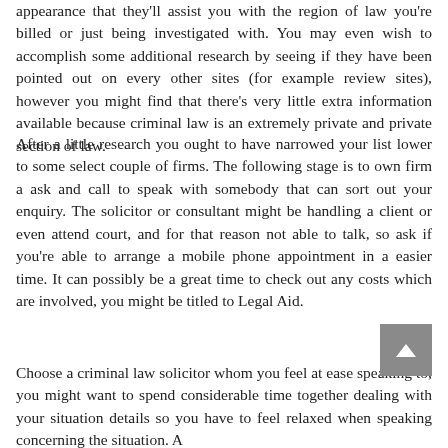appearance that they'll assist you with the region of law you're billed or just being investigated with. You may even wish to accomplish some additional research by seeing if they have been pointed out on every other sites (for example review sites), however you might find that there's very little extra information available because criminal law is an extremely private and private section of law.
After a little research you ought to have narrowed your list lower to some select couple of firms. The following stage is to own firm a ask and call to speak with somebody that can sort out your enquiry. The solicitor or consultant might be handling a client or even attend court, and for that reason not able to talk, so ask if you're able to arrange a mobile phone appointment in a easier time. It can possibly be a great time to check out any costs which are involved, you might be titled to Legal Aid.
Choose a criminal law solicitor whom you feel at ease speaking to, you might want to spend considerable time together dealing with your situation details so you have to feel relaxed when speaking concerning the situation. A